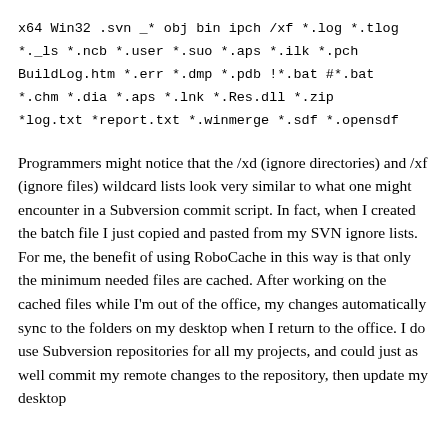x64 Win32 .svn _* obj bin ipch /xf *.log *.tlog
*._ls *.ncb *.user *.suo *.aps *.ilk *.pch
BuildLog.htm *.err *.dmp *.pdb !*.bat #*.bat
*.chm *.dia *.aps *.lnk *.Res.dll *.zip
*log.txt *report.txt *.winmerge *.sdf *.opensdf
Programmers might notice that the /xd (ignore directories) and /xf (ignore files) wildcard lists look very similar to what one might encounter in a Subversion commit script. In fact, when I created the batch file I just copied and pasted from my SVN ignore lists. For me, the benefit of using RoboCache in this way is that only the minimum needed files are cached. After working on the cached files while I'm out of the office, my changes automatically sync to the folders on my desktop when I return to the office. I do use Subversion repositories for all my projects, and could just as well commit my remote changes to the repository, then update my desktop